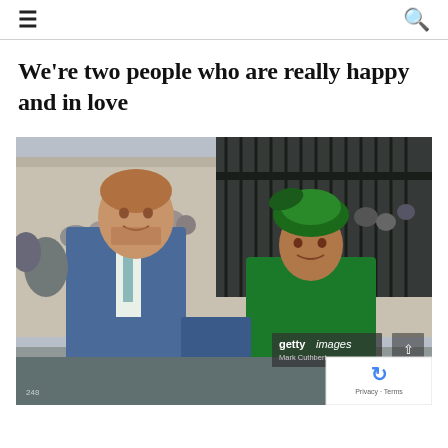≡  🔍
We're two people who are really happy and in love
[Figure (photo): Prince Harry in a blue suit with a teal tie and Meghan Markle in a green outfit with a green hat, walking together outside a building with iron gates, crowd in background. Getty Images watermark with credit Mark Cuthbert visible.]